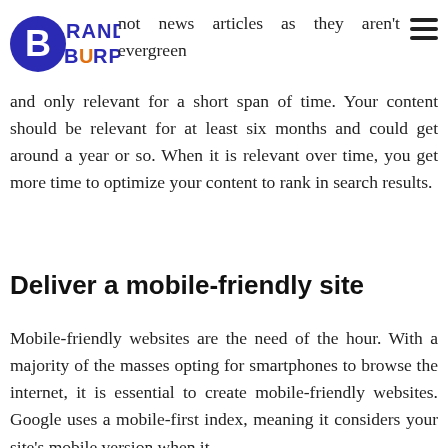Brand Burp logo
not news articles as they aren't evergreen and only relevant for a short span of time. Your content should be relevant for at least six months and could get around a year or so. When it is relevant over time, you get more time to optimize your content to rank in search results.
Deliver a mobile-friendly site
Mobile-friendly websites are the need of the hour. With a majority of the masses opting for smartphones to browse the internet, it is essential to create mobile-friendly websites. Google uses a mobile-first index, meaning it considers your site's mobile version when it comes to rankings and its in the SERPs. Therefore